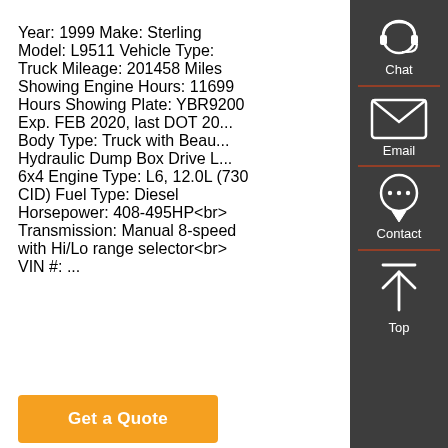Year: 1999 Make: Sterling Model: L9511 Vehicle Type: Truck Mileage: 201458 Miles Showing Engine Hours: 11699 Hours Showing Plate: YBR9200 Exp. FEB 2020, last DOT 20... Body Type: Truck with Beau... Hydraulic Dump Box Drive L... 6x4 Engine Type: L6, 12.0L (730 CID) Fuel Type: Diesel Horsepower: 408-495HP<br> Transmission: Manual 8-speed with Hi/Lo range selector<br> VIN #: ...
[Figure (other): Sidebar with Chat, Email, Contact, and Top navigation icons on dark grey background]
Get a Quote